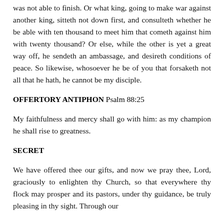was not able to finish. Or what king, going to make war against another king, sitteth not down first, and consulteth whether he be able with ten thousand to meet him that cometh against him with twenty thousand? Or else, while the other is yet a great way off, he sendeth an ambassage, and desireth conditions of peace. So likewise, whosoever he be of you that forsaketh not all that he hath, he cannot be my disciple.
OFFERTORY ANTIPHON Psalm 88:25
My faithfulness and mercy shall go with him: as my champion he shall rise to greatness.
SECRET
We have offered thee our gifts, and now we pray thee, Lord, graciously to enlighten thy Church, so that everywhere thy flock may prosper and its pastors, under thy guidance, be truly pleasing in thy sight. Through our